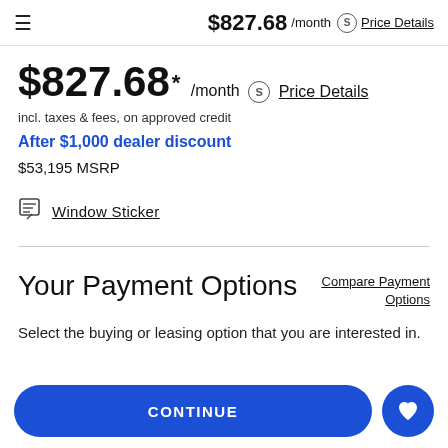$827.68 /month (S) Price Details
$827.68 * /month (S) Price Details
incl. taxes & fees, on approved credit
After $1,000 dealer discount
$53,195 MSRP
Window Sticker
Your Payment Options
Compare Payment Options
Select the buying or leasing option that you are interested in.
CONTINUE